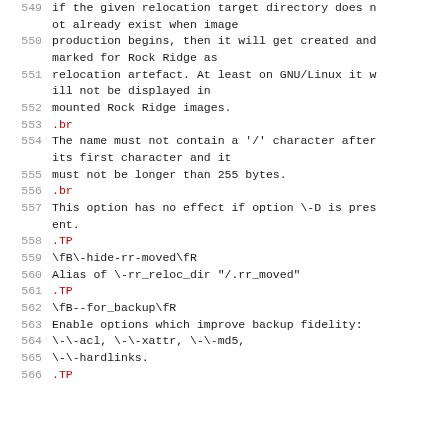549 (continuation) if the given relocation target directory does not already exist when image
550 production begins, then it will get created and marked for Rock Ridge as
551 relocation artefact. At least on GNU/Linux it will not be displayed in
552 mounted Rock Ridge images.
553 .br
554 The name must not contain a '/' character after its first character and it
555 must not be longer than 255 bytes.
556 .br
557 This option has no effect if option \-D is present.
558 .TP
559 \fB\-hide-rr-moved\fR
560 Alias of \-rr_reloc_dir "/.rr_moved"
561 .TP
562 \fB--for_backup\fR
563 Enable options which improve backup fidelity:
564 \-\-acl, \-\-xattr, \-\-md5,
565 \-\-hardlinks.
566 .TP